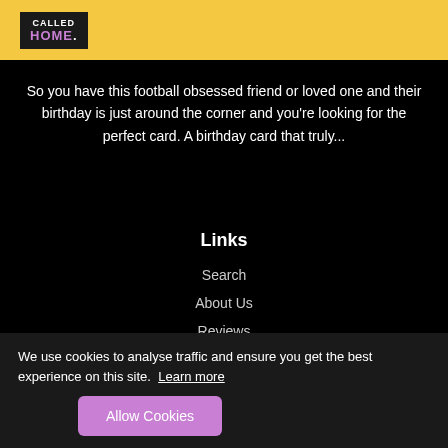[Figure (logo): Logo with text 'CALLED HOME.' on dark background inside a yellow banner]
So you have this football obsessed friend or loved one and their birthday is just around the corner and you're looking for the perfect card. A birthday card that truly...
Links
Search
About Us
Reviews
Delivery
Policies
We use cookies to analyse traffic and ensure you get the best experience on this site.  Learn more
Allow Cookies